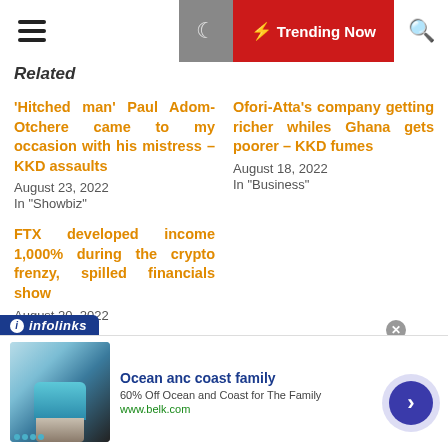Related | Trending Now
Related
'Hitched man' Paul Adom-Otchere came to my occasion with his mistress – KKD assaults
August 23, 2022
In "Showbiz"
Ofori-Atta's company getting richer whiles Ghana gets poorer – KKD fumes
August 18, 2022
In "Business"
FTX developed income 1,000% during the crypto frenzy, spilled financials show
August 20, 2022
In "Business"
[Figure (other): Infolinks advertisement banner with Ocean anc coast family – 60% Off Ocean and Coast for The Family, www.belk.com]